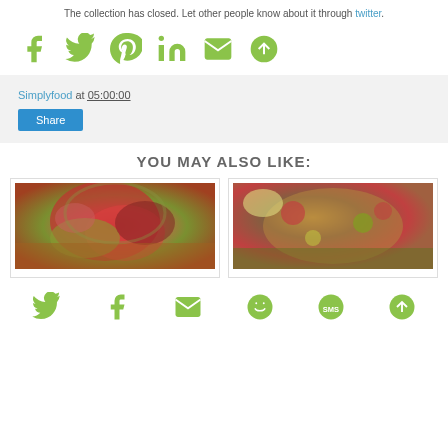The collection has closed. Let other people know about it through twitter.
[Figure (infographic): Row of green social media share icons: Facebook, Twitter, Pinterest, LinkedIn, Email, and a circular arrow/share icon]
Simplyfood at 05:00:00
Share
YOU MAY ALSO LIKE:
[Figure (photo): Photo of a bowl of fresh tomato salsa with red onion and herbs in green and yellow bowls on a bamboo mat]
[Figure (photo): Photo of a colorful quinoa salad with black beans, red peppers, corn, and cucumber on a gray plate with lemon]
[Figure (infographic): Row of green social media icons at bottom: Twitter, Facebook, Email, WhatsApp, SMS, circular share icon]